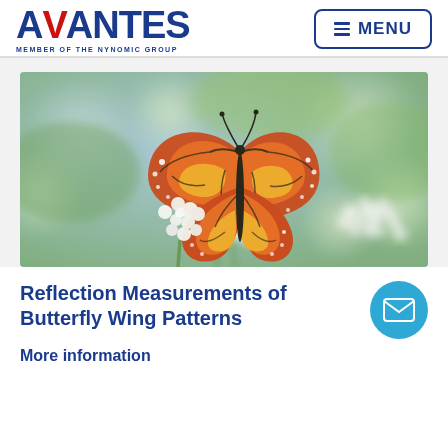AVANTES - MEMBER OF THE NYNOMIC GROUP | MENU
[Figure (photo): A monarch butterfly with orange and black wings perched on white flowers, with a blurred green background]
Reflection Measurements of Butterfly Wing Patterns
More information